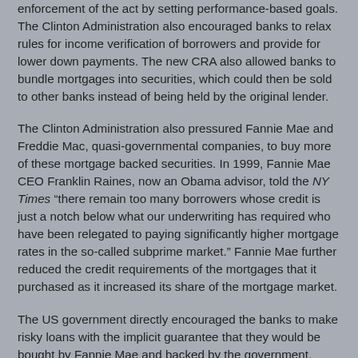enforcement of the act by setting performance-based goals. The Clinton Administration also encouraged banks to relax rules for income verification of borrowers and provide for lower down payments. The new CRA also allowed banks to bundle mortgages into securities, which could then be sold to other banks instead of being held by the original lender.
The Clinton Administration also pressured Fannie Mae and Freddie Mac, quasi-governmental companies, to buy more of these mortgage backed securities. In 1999, Fannie Mae CEO Franklin Raines, now an Obama advisor, told the NY Times “there remain too many borrowers whose credit is just a notch below what our underwriting has required who have been relegated to paying significantly higher mortgage rates in the so-called subprime market.” Fannie Mae further reduced the credit requirements of the mortgages that it purchased as it increased its share of the mortgage market.
The US government directly encouraged the banks to make risky loans with the implicit guarantee that they would be bought by Fannie Mae and backed by the government. Community groups pressured banks to lend more money to low income borrowers and the share of subprime lending...